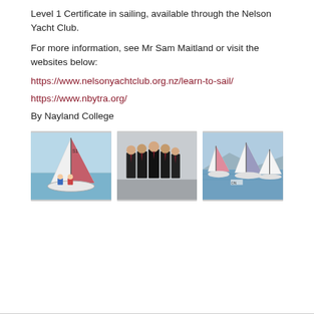Level 1 Certificate in sailing, available through the Nelson Yacht Club.
For more information, see Mr Sam Maitland or visit the websites below:
https://www.nelsonyachtclub.org.nz/learn-to-sail/
https://www.nbytra.org/
By Nayland College
[Figure (photo): Two sailors in life jackets on a small sailboat with red and white sail marked 'S1' on blue water]
[Figure (photo): Group of young men in dark formal school uniforms standing together outdoors]
[Figure (photo): Multiple small white sailboats racing on blue water near a shoreline]